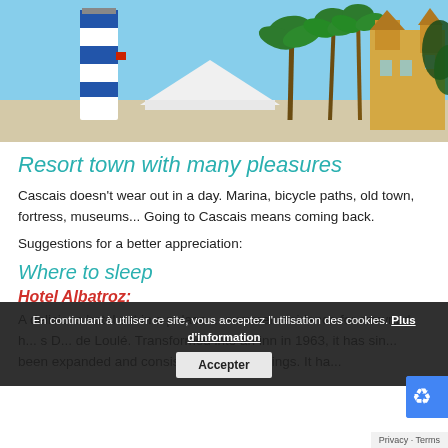[Figure (photo): A coastal town scene with a striped lighthouse/tower, palm trees, and a yellow ornate building against a clear blue sky. Sunny Mediterranean setting, likely Cascais, Portugal.]
Resort town with many pleasures
Cascais doesn't wear out in a day. Marina, bicycle paths, old town, fortress, museums... Going to Cascais means coming back.
Suggestions for a better appreciation:
Where to sleep
Hotel Albatroz:
A delicious hotel set in a palace ... summer residence for crowned h... s D... de Loulé. Transformed into an inn in 1963, it has sin... been expanded and consists of three buildings. It ha...